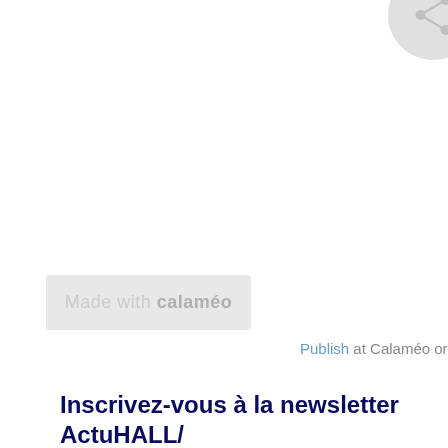[Figure (logo): Circular grey icon in the top-right corner with a share/network symbol inside]
[Figure (logo): Made with calaméo badge — light grey rounded rectangle with text 'Made with calaméo']
Publish at Calaméo or bro
Inscrivez-vous à la newsletter ActuHALL/